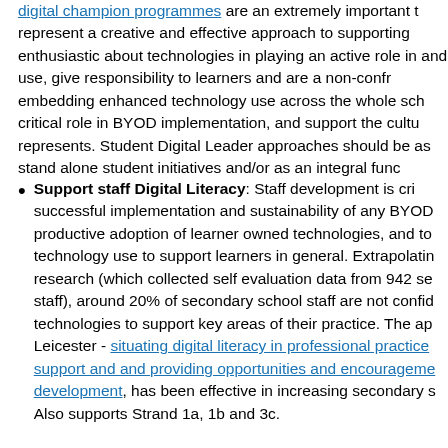digital champion programmes are an extremely important t… represent a creative and effective approach to supporting… enthusiastic about technologies in playing an active role in… and use, give responsibility to learners and are a non-confr… embedding enhanced technology use across the whole sch… critical role in BYOD implementation, and support the cultu… represents. Student Digital Leader approaches should be… as stand alone student initiatives and/or as an integral func…
Support staff Digital Literacy: Staff development is cri… successful implementation and sustainability of any BYOD… productive adoption of learner owned technologies, and to… technology use to support learners in general. Extrapolatin… research (which collected self evaluation data from 942 se… staff), around 20% of secondary school staff are not confid… technologies to support key areas of their practice. The ap… Leicester - situating digital literacy in professional practice… support and and providing opportunities and encourageme… development, has been effective in increasing secondary s… Also supports Strand 1a, 1b and 3c.